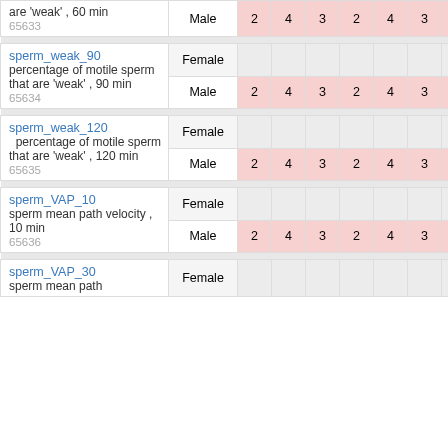| Variable | Sex | 1 | 2 | 3 | 4 | 5 | 6 | 7 | 8 | 9 | 10 | 11 | 12 |
| --- | --- | --- | --- | --- | --- | --- | --- | --- | --- | --- | --- | --- | --- |
| sperm_weak_60 / percentage of motile sperm that are 'weak', 60 min 65633 | Male | 2 | 4 | 3 | 2 | 4 | 3 | 3 | 3 | 7 | 4 | 2 | 2 |
| sperm_weak_90 / percentage of motile sperm that are 'weak', 90 min 65634 | Female |  |  |  |  |  |  |  |  |  |  |  |  |
| sperm_weak_90 / percentage of motile sperm that are 'weak', 90 min 65634 | Male | 2 | 4 | 3 | 2 | 4 | 3 | 3 | 3 | 7 | 4 | 2 | 2 |
| sperm_weak_120 / percentage of motile sperm that are 'weak', 120 min 65635 | Female |  |  |  |  |  |  |  |  |  |  |  |  |
| sperm_weak_120 / percentage of motile sperm that are 'weak', 120 min 65635 | Male | 2 | 4 | 3 | 2 | 4 | 3 | 3 | 3 | 7 | 4 | 2 | 2 |
| sperm_VAP_10 / sperm mean path velocity, 10 min 65636 | Female |  |  |  |  |  |  |  |  |  |  |  |  |
| sperm_VAP_10 / sperm mean path velocity, 10 min 65636 | Male | 2 | 4 | 3 | 2 | 4 | 3 | 3 | 3 | 7 | 4 | 2 | 2 |
| sperm_VAP_30 / sperm mean path velocity | Female |  |  |  |  |  |  |  |  |  |  |  |  |